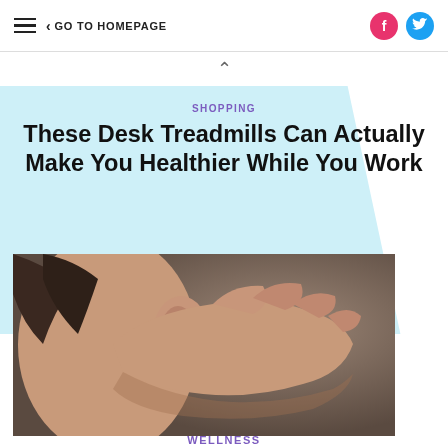≡  < GO TO HOMEPAGE  [facebook] [twitter]
SHOPPING
These Desk Treadmills Can Actually Make You Healthier While You Work
[Figure (photo): Close-up photo of a person holding their hand cupped behind their ear, listening gesture, with a blurred grey/brown background]
WELLNESS